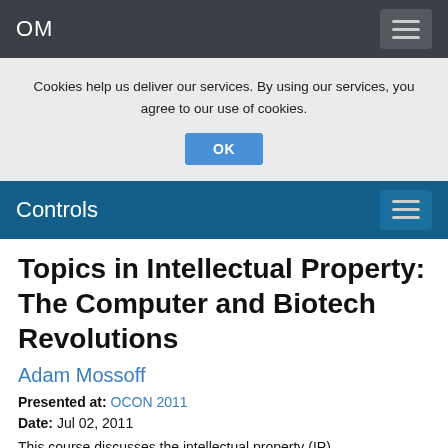OM
Cookies help us deliver our services. By using our services, you agree to our use of cookies. OK
Controls
Topics in Intellectual Property: The Computer and Biotech Revolutions
Adam Mossoff
Presented at: OCON 2011
Date: Jul 02, 2011
This course discusses the intellectual property (IP)